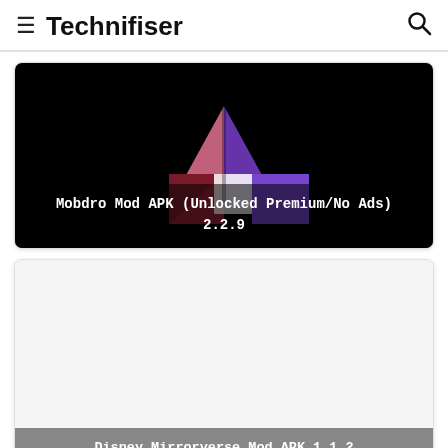≡ Technifiser 🔍
[Figure (illustration): Mobdro app logo on black background — a house shape made of colored geometric segments (pink/red/purple quadrants), with white text overlay reading 'Mobdro Mod APK (Unlocked Premium/No Ads) 2.2.9']
Mobdro Mod APK (Unlocked Premium/No Ads) 2.2.9
[Figure (illustration): White/light gray blank card image area for Disney Mirrorverse article, with dark gray overlay text reading 'Disney Mirrorverse Mod APK 1.1.2 (DMG/Defense menu)']
Disney Mirrorverse Mod APK 1.1.2 (DMG/Defense menu)